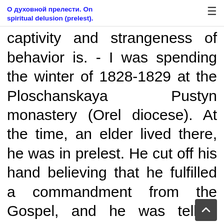О духовной прелести. On spiritual delusion (prelest).
captivity and strangeness of behavior is. - I was spending the winter of 1828-1829 at the Ploschanskaya Pustyn monastery (Orel diocese). At the time, an elder lived there, he was in prelest. He cut off his hand believing that he fulfilled a commandment from the Gospel, and he was telling anyone who was pleased to hear it, that the severed